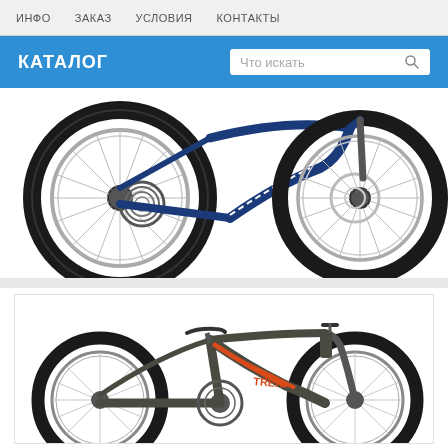ИНФО   ЗАКАЗ   УСЛОВИЯ   КОНТАКТЫ
КАТАЛОГ
Что искать
[Figure (photo): Blue mountain bike close-up showing rear wheel with cassette/derailleur and front wheel with disc brake, Trek brand bike]
[Figure (photo): Gray and orange full mountain bike (Trek brand) shown in side profile view inside a white card with border]